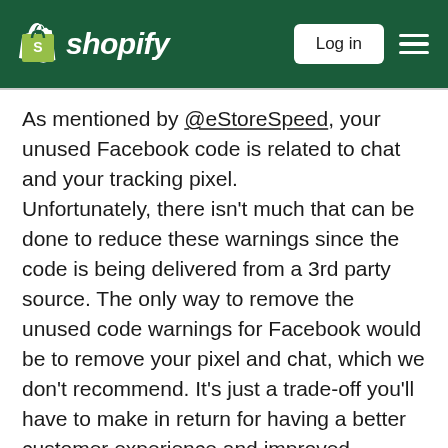Shopify — Log in
As mentioned by @eStoreSpeed, your unused Facebook code is related to chat and your tracking pixel.
Unfortunately, there isn't much that can be done to reduce these warnings since the code is being delivered from a 3rd party source. The only way to remove the unused code warnings for Facebook would be to remove your pixel and chat, which we don't recommend. It's just a trade-off you'll have to make in return for having a better customer experience and improved customer tracking details.
What I mentioned above will apply to just about all unused JavaScript warnings coming from 3rd party